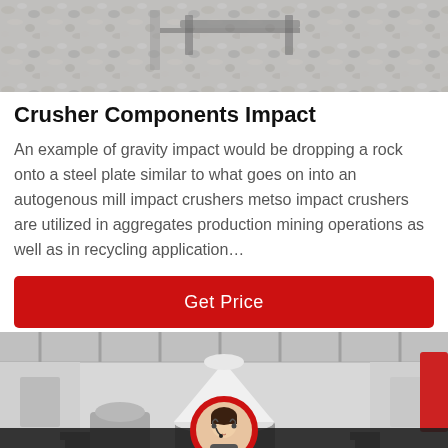[Figure (photo): Aerial/close-up view of crushed rock/gravel aggregate at a mining or quarry site with industrial equipment in background]
Crusher Components Impact
An example of gravity impact would be dropping a rock onto a steel plate similar to what goes on into an autogenous mill impact crushers metso impact crushers are utilized in aggregates production mining operations as well as in recycling application…
[Figure (other): Red 'Get Price' call-to-action button]
[Figure (photo): Industrial facility interior showing a large white cone crusher machine in a warehouse/factory setting]
Leave Message   Chat Online